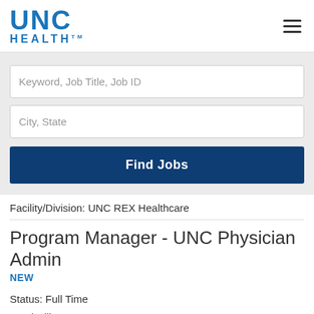[Figure (logo): UNC Health logo in blue]
Keyword, Job Title, Job ID
City, State
Find Jobs
Facility/Division: UNC REX Healthcare
Program Manager - UNC Physician Admin
NEW
Status: Full Time
Morrisville, NC
Facility/Division: Shared Services